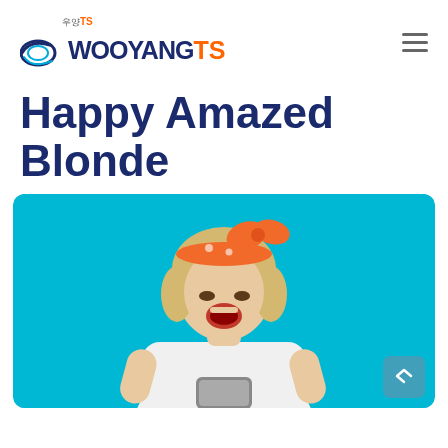[Figure (logo): WooYang TS company logo with Korean text 우양 above, arc swoosh graphic on left, text WOOYANG in dark navy and TS in orange]
Happy Amazed Blonde
[Figure (photo): Happy amazed blonde woman wearing orange polka-dot headband and white t-shirt, looking at smartphone with open mouth expression, standing against bright teal/cyan background. Back-to-top arrow button visible in bottom right corner of image.]